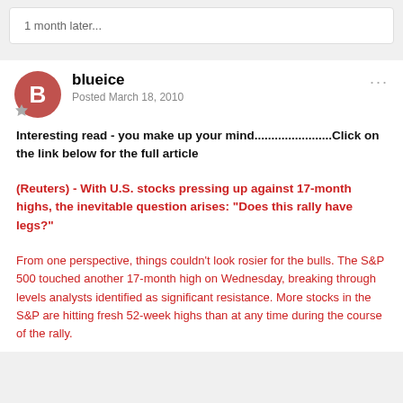1 month later...
blueice
Posted March 18, 2010
Interesting read - you make up your mind.......................Click on the link below for the full article
(Reuters) - With U.S. stocks pressing up against 17-month highs, the inevitable question arises: "Does this rally have legs?"
From one perspective, things couldn't look rosier for the bulls. The S&P 500 touched another 17-month high on Wednesday, breaking through levels analysts identified as significant resistance. More stocks in the S&P are hitting fresh 52-week highs than at any time during the course of the rally.